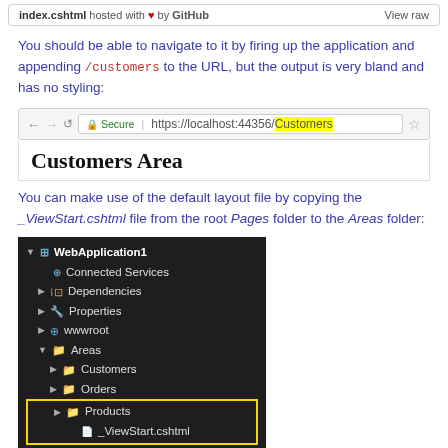index.cshtml hosted with ❤ by GitHub   View raw
You should be able to navigate to it by firing up the application and appending /customers to the URL, but the output is very bland and has no styling:
[Figure (screenshot): Browser address bar showing https://localhost:44356/Customers with /Customers highlighted in yellow, and a rendered page showing 'Customers Area' heading]
You can make use of the default layout file by copying the _ViewStart.cshtml file from the root Pages folder to the Areas folder:
[Figure (screenshot): Visual Studio Solution Explorer tree showing WebApplication1 project with Connected Services, Dependencies, Properties, wwwroot, and expanded Areas folder containing Customers, Orders, Products subfolders, with _ViewStart.cshtml highlighted in yellow box]